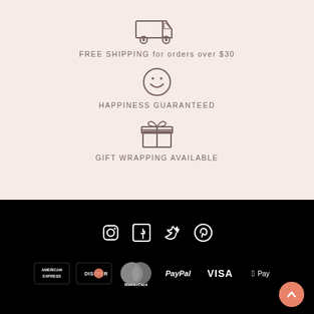[Figure (infographic): Truck icon with text FREE SHIPPING for orders over $30, smiley face icon with text HAPPINESS GUARANTEED, gift box icon with text GIFT WRAPPING AVAILABLE, on a light pink background]
[Figure (infographic): Black footer section with social media icons (Instagram, Facebook, Twitter, Pinterest) and payment method logos (American Express, Discover, MasterCard, PayPal, Visa, Apple Pay) plus a coral back-to-top button]